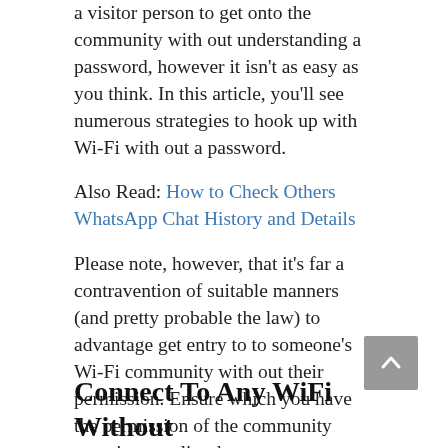a visitor person to get onto the community without understanding a password, however it isn't as easy as you think. In this article, you'll see numerous strategies to hook up with Wi-Fi without a password.
Also Read: How to Check Others WhatsApp Chat History and Details
Please note, however, that it's far a contravention of suitable manners (and pretty probable the law) to advantage get entry to to someone's Wi-Fi community with out their permission. Ensure which you have the permission of the community proprietor earlier than you operate any of the strategies below.
Connect To Any WiFi Without